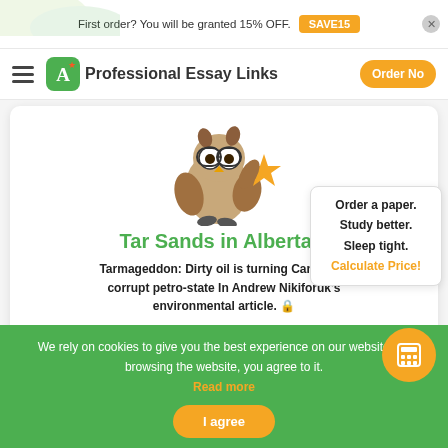First order? You will be granted 15% OFF.  SAVE15  ×
Professional Essay Links  Order No
[Figure (illustration): Cartoon owl wearing glasses and holding a gold star, mascot for essay writing service]
Tar Sands in Alberta...
Tarmageddon: Dirty oil is turning Canada in corrupt petro-state In Andrew Nikiforuk's environmental article.
Order a paper. Study better. Sleep tight. Calculate Price!
We rely on cookies to give you the best experience on our website. By browsing the website, you agree to it. Read more
I agree